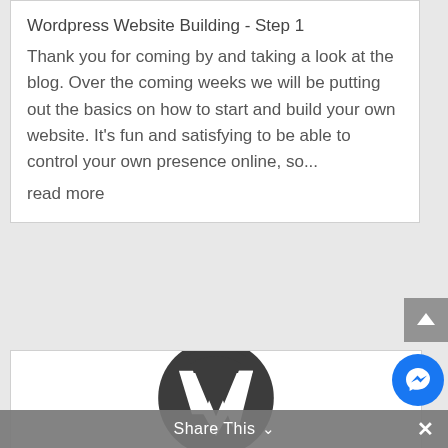Wordpress Website Building - Step 1
Thank you for coming by and taking a look at the blog. Over the coming weeks we will be putting out the basics on how to start and build your own website. It's fun and satisfying to be able to control your own presence online, so...
read more
[Figure (logo): WordPress logo — large W letter mark inside a dark circle]
Share This